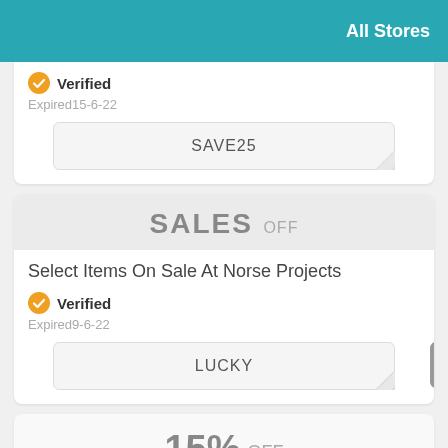All Stores
Verified
Expired15-6-22
SAVE25
SALES OFF
Select Items On Sale At Norse Projects
Verified
Expired9-6-22
LUCKY
15% OFF